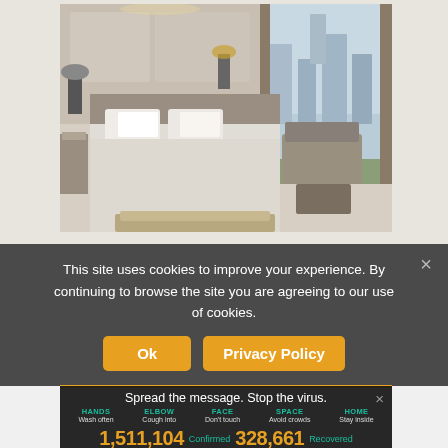[Figure (photo): Luxury hotel room with king bed, white linens, lounge area, and city skyline view through large floor-to-ceiling windows]
This site uses cookies to improve your experience. By continuing to browse the site you are agreeing to our use of cookies.
Ok  Privacy Policy
[Figure (infographic): COVID-19 awareness banner: Spread the message. Stop the virus. HANDS Wash often | ELBOW Cough into | FACE Don't touch | SPACE Avoid crowds | HOME Stay inside. Stats: 1,511,104 Confirmed | 328,661 Recovered]